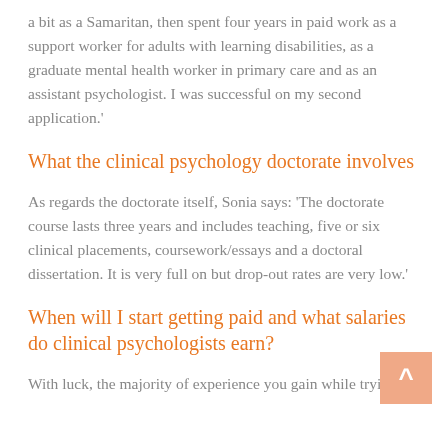a bit as a Samaritan, then spent four years in paid work as a support worker for adults with learning disabilities, as a graduate mental health worker in primary care and as an assistant psychologist. I was successful on my second application.'
What the clinical psychology doctorate involves
As regards the doctorate itself, Sonia says: 'The doctorate course lasts three years and includes teaching, five or six clinical placements, coursework/essays and a doctoral dissertation. It is very full on but drop-out rates are very low.'
When will I start getting paid and what salaries do clinical psychologists earn?
With luck, the majority of experience you gain while trying to